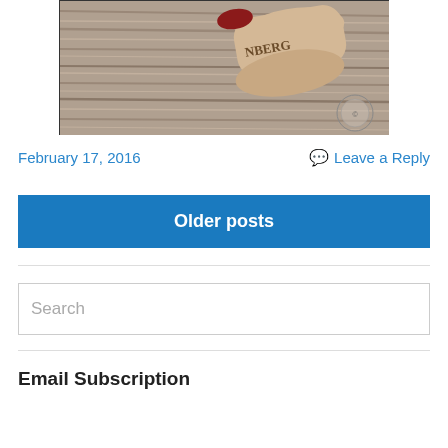[Figure (photo): Close-up photo of a wine cork labeled 'NBERG' resting on a weathered wood surface, with a small circular stamp/logo visible in the bottom right corner of the image.]
February 17, 2016
Leave a Reply
Older posts
Search
Email Subscription